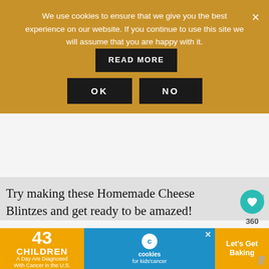We use cookies to ensure that we give you the best experience on our website. If you continue to use this site we will assume that you are happy with it.
READ MORE
OK
NO
[Figure (screenshot): Gray advertisement area with bar/waveform icon on right]
Try making these Homemade Cheese Blintzes and get ready to be amazed!
360
THANKS SO MUCH for following and being part of the She Loves Biscotti community where you will find Simple & Tasty Italian
WHAT'S NEXT → Baked Ricotta Cheese...
[Figure (screenshot): Bottom advertisement banner: 43 Children A Day Are Diagnosed With Cancer in the U.S. / cookies for kids cancer / Let's Get Baking]